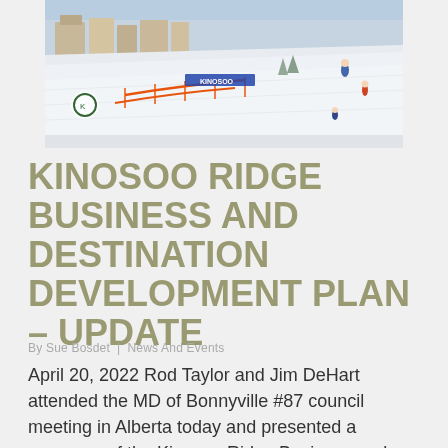[Figure (photo): Aerial view of a ski resort with snow-covered slopes, ski runs with orange fencing, skiers on the hill, and resort buildings visible in the background.]
KINOSOO RIDGE BUSINESS AND DESTINATION DEVELOPMENT PLAN – UPDATE
By Sue Bosdet  |  News And Events
April 20, 2022 Rod Taylor and Jim DeHart attended the MD of Bonnyville #87 council meeting in Alberta today and presented a summary of the Kinosoo Ridge Business and Destination...